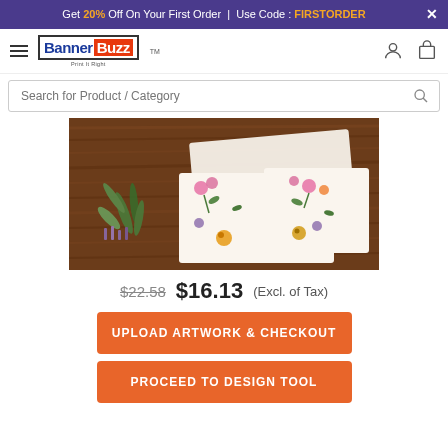Get 20% Off On Your First Order | Use Code : FIRSTORDER
[Figure (logo): BannerBuzz logo with hamburger menu, user icon, and cart icon]
Search for Product / Category
[Figure (photo): Product photo showing custom postcards with floral design on a wooden table background]
$22.58  $16.13  (Excl. of Tax)
UPLOAD ARTWORK & CHECKOUT
PROCEED TO DESIGN TOOL